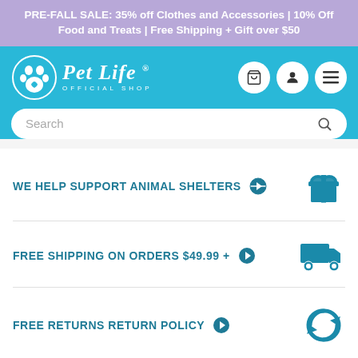PRE-FALL SALE: 35% off Clothes and Accessories | 10% Off Food and Treats | Free Shipping + Gift over $50
[Figure (logo): Pet Life Official Shop logo with paw print icon, cart, user, and menu navigation icons on teal background with search bar]
WE HELP SUPPORT ANIMAL SHELTERS
FREE SHIPPING ON ORDERS $49.99 +
FREE RETURNS RETURN POLICY